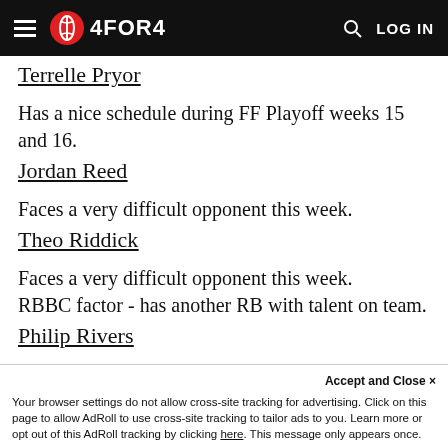4FOR4 — LOG IN
Terrelle Pryor
Has a nice schedule during FF Playoff weeks 15 and 16.
Jordan Reed
Faces a very difficult opponent this week.
Theo Riddick
Faces a very difficult opponent this week.
RBBC factor - has another RB with talent on team.
Philip Rivers
History shows older players wear down more during the season.
Ben Roethlisberger
Accept and Close ✕
Your browser settings do not allow cross-site tracking for advertising. Click on this page to allow AdRoll to use cross-site tracking to tailor ads to you. Learn more or opt out of this AdRoll tracking by clicking here. This message only appears once.